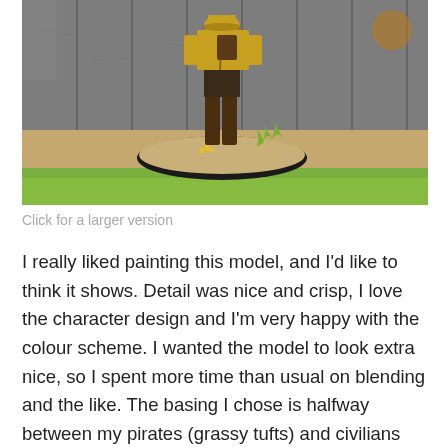[Figure (photo): A painted miniature figurine of a pirate/colonial character with yellow coat, brown boots and leather gear, standing on a decorative round base with gravel, grass tufts and small yellow flowers. Background shows a wooden fence/wall. Photo is taken outdoors with shallow depth of field showing green grass in foreground.]
Click for a larger version
I really liked painting this model, and I'd like to think it shows. Detail was nice and crisp, I love the character design and I'm very happy with the colour scheme. I wanted the model to look extra nice, so I spent more time than usual on blending and the like. The basing I chose is halfway between my pirates (grassy tufts) and civilians and other non-pirate types (flower tufts), representing how